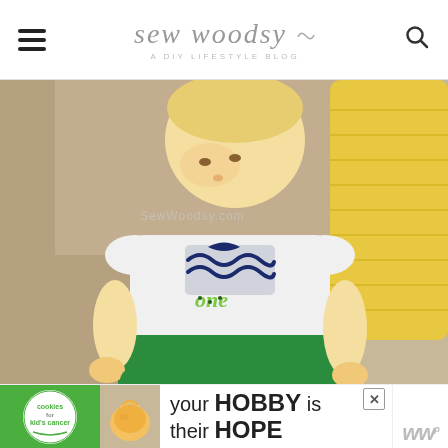sew woodsy — A DIY LIFESTYLE BLOG
[Figure (photo): Baby/toddler sitting on a tan couch next to a yellow decorative object, wearing a white onesie with a navy fish/wave appliqué and the word 'one' in green letters, and green shorts. Watermark reads SewWoodsy.com]
[Figure (photo): Advertisement banner for Cookies for Kid's Cancer: green background with white circle logo on left, text 'your HOBBY is their HOPE' in black on white background, close button X, and W logo on right]